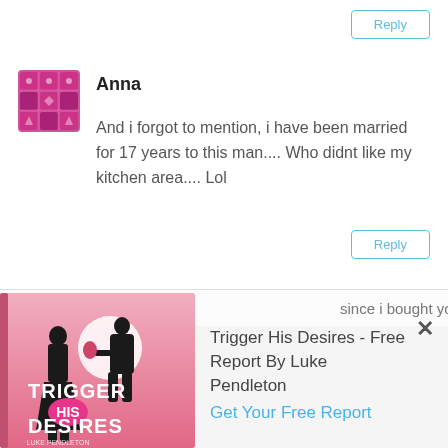Reply
[Figure (illustration): Purple/pink geometric avatar icon for user Anna]
Anna
And i forgot to mention, i have been married for 17 years to this man.... Who didnt like my kitchen area.... Lol
Reply
since i bought your programs, i
[Figure (photo): Book cover: Trigger His Desires by Luke Pendleton, showing silhouettes of a couple on a pink background]
Trigger His Desires - Free Report By Luke Pendleton
Get Your Free Report
✕